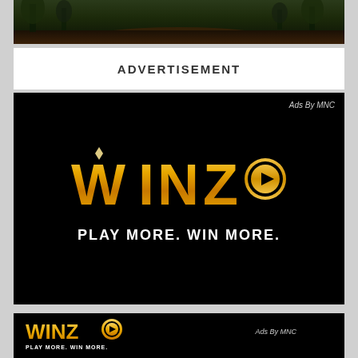[Figure (photo): Partial forest path photo at top of page, dark greens and browns]
ADVERTISEMENT
[Figure (illustration): WinZo advertisement on black background. Gold 'WINZO' logo with play button icon. Tagline: PLAY MORE. WIN MORE. Small text: Ads By MNC]
[Figure (illustration): WinZo bottom banner ad on black background. Gold 'WINZO' logo, tagline PLAY MORE. WIN MORE., and Ads By MNC text on right side]